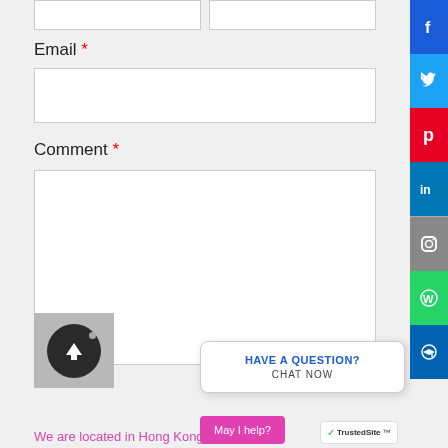[Figure (screenshot): Web form section showing Email and Comment fields with input boxes, an upload button, a chat widget saying 'HAVE A QUESTION? CHAT NOW', social media sidebar icons (Facebook, Twitter, Pinterest, LinkedIn, Instagram, WhatsApp, Messenger), a pink 'May I help?' bar, TrustedSite badge, and text 'We are located in Hong Kong.']
Email *
Comment *
HAVE A QUESTION?
CHAT NOW
We are located in Hong Kong.
May I help?
TrustedSite